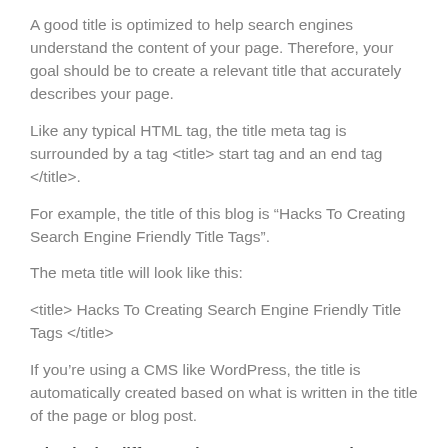A good title is optimized to help search engines understand the content of your page. Therefore, your goal should be to create a relevant title that accurately describes your page.
Like any typical HTML tag, the title meta tag is surrounded by a tag <title> start tag and an end tag </title>.
For example, the title of this blog is “Hacks To Creating Search Engine Friendly Title Tags”.
The meta title will look like this:
<title> Hacks To Creating Search Engine Friendly Title Tags </title>
If you’re using a CMS like WordPress, the title is automatically created based on what is written in the title of the page or blog post.
What is the difference between a H1 tag and